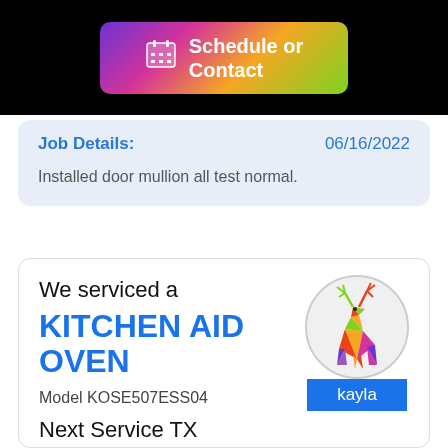[Figure (other): Schedule or Contact button with calendar icon and gradient background (purple to pink to orange to green)]
Job Details: 06/16/2022
Installed door mullion all test normal.
We serviced a
KITCHEN AID OVEN
Model KOSE507ESS04
[Figure (illustration): Colorful geometric low-poly deer logo inside a circle, with a blue 'kayla' name badge below]
Next Service TX